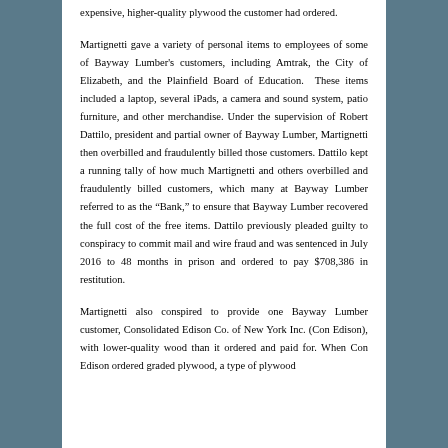expensive, higher-quality plywood the customer had ordered.
Martignetti gave a variety of personal items to employees of some of Bayway Lumber's customers, including Amtrak, the City of Elizabeth, and the Plainfield Board of Education. These items included a laptop, several iPads, a camera and sound system, patio furniture, and other merchandise. Under the supervision of Robert Dattilo, president and partial owner of Bayway Lumber, Martignetti then overbilled and fraudulently billed those customers. Dattilo kept a running tally of how much Martignetti and others overbilled and fraudulently billed customers, which many at Bayway Lumber referred to as the "Bank," to ensure that Bayway Lumber recovered the full cost of the free items. Dattilo previously pleaded guilty to conspiracy to commit mail and wire fraud and was sentenced in July 2016 to 48 months in prison and ordered to pay $708,386 in restitution.
Martignetti also conspired to provide one Bayway Lumber customer, Consolidated Edison Co. of New York Inc. (Con Edison), with lower-quality wood than it ordered and paid for. When Con Edison ordered graded plywood, a type of plywood